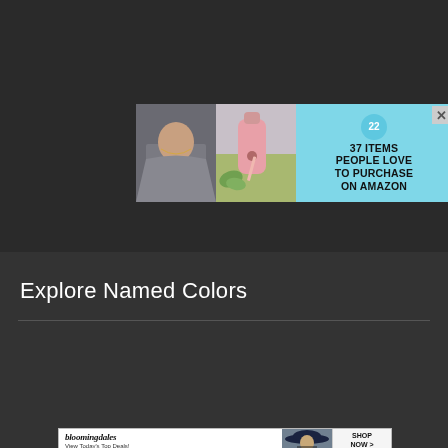[Figure (infographic): Advertisement banner with cyan/light-blue background showing two product photos on the left (a person wearing a necklace, and a pink toothpaste dispenser with succulent), a circular badge with '22' on it, and bold text reading '37 ITEMS PEOPLE LOVE TO PURCHASE ON AMAZON'. A close (X) button in the top-right corner.]
Explore Named Colors
[Figure (illustration): Two color swatches side by side: a muted sage green swatch on the left and a light sky blue swatch on the right, with a 'CLOSE' button overlapping the bottom-right of the blue swatch.]
[Figure (infographic): Bloomingdale's advertisement banner at the bottom with logo text 'bloomingdales', tagline 'View Today's Top Deals!', a photo of a woman in a hat, and a 'SHOP NOW >' button.]